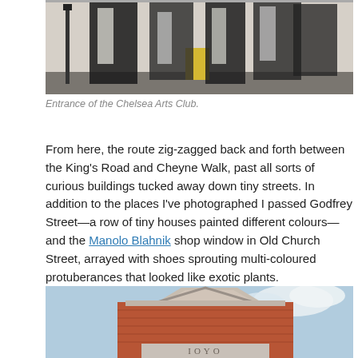[Figure (photo): Black and white large-format photographic artwork displayed on the exterior wall of the Chelsea Arts Club, showing tall human figures.]
Entrance of the Chelsea Arts Club.
From here, the route zig-zagged back and forth between the King's Road and Cheyne Walk, past all sorts of curious buildings tucked away down tiny streets. In addition to the places I've photographed I passed Godfrey Street—a row of tiny houses painted different colours—and the Manolo Blahnik shop window in Old Church Street, arrayed with shoes sprouting multi-coloured protuberances that looked like exotic plants.
[Figure (photo): Photograph of a brick building facade with a triangular pediment, possibly a church or civic building, with partial text visible on the stonework and a partly cloudy blue sky behind.]